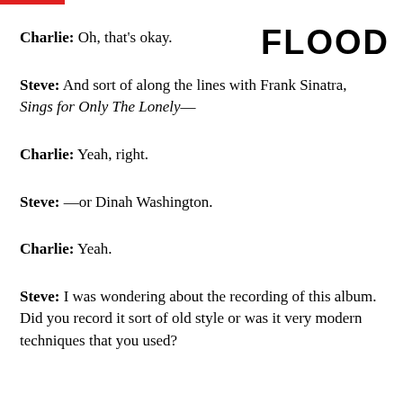FLOOD
Charlie: Oh, that's okay.
Steve: And sort of along the lines with Frank Sinatra, Sings for Only The Lonely—
Charlie: Yeah, right.
Steve: —or Dinah Washington.
Charlie: Yeah.
Steve: I was wondering about the recording of this album. Did you record it sort of old style or was it very modern techniques that you used?